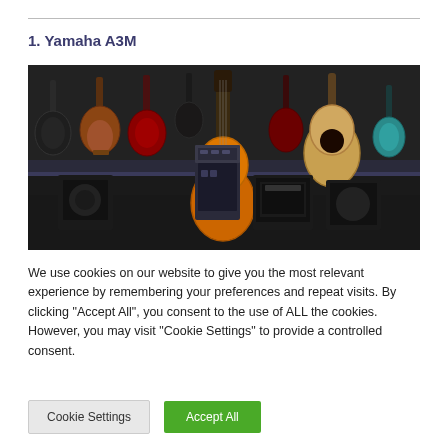1. Yamaha A3M
[Figure (photo): A collection of guitars hanging on a dark wall in a music shop or studio. An acoustic guitar (Yamaha, orange/natural finish) is prominently displayed in the center foreground, with various electric and acoustic guitars displayed behind it, along with amplifiers and equipment.]
We use cookies on our website to give you the most relevant experience by remembering your preferences and repeat visits. By clicking “Accept All”, you consent to the use of ALL the cookies. However, you may visit “Cookie Settings” to provide a controlled consent.